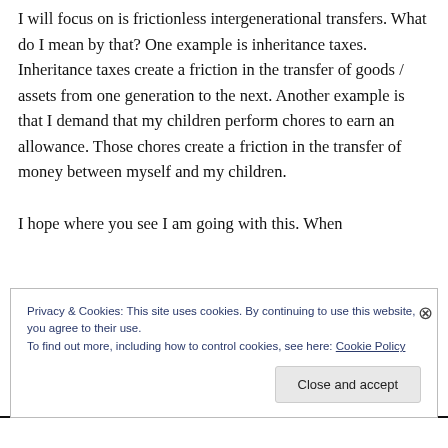I will focus on is frictionless intergenerational transfers. What do I mean by that? One example is inheritance taxes. Inheritance taxes create a friction in the transfer of goods / assets from one generation to the next. Another example is that I demand that my children perform chores to earn an allowance. Those chores create a friction in the transfer of money between myself and my children.

I hope where you see I am going with this. When
Privacy & Cookies: This site uses cookies. By continuing to use this website, you agree to their use.
To find out more, including how to control cookies, see here: Cookie Policy